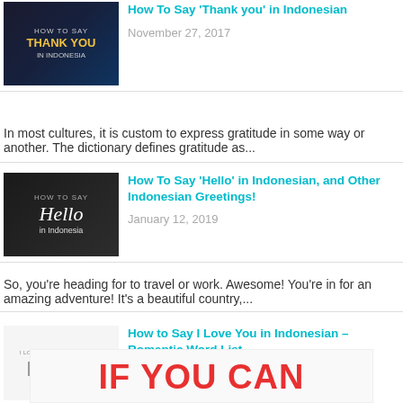How To Say 'Thank you' in Indonesian
November 27, 2017
In most cultures, it is custom to express gratitude in some way or another. The dictionary defines gratitude as...
How To Say 'Hello' in Indonesian, and Other Indonesian Greetings!
January 12, 2019
So, you're heading for to travel or work. Awesome! You're in for an amazing adventure! It's a beautiful country,...
How to Say I Love You in Indonesian – Romantic Word List
February 7, 2019
Do you often feel lonely and sad? Do you long for romance and are willing to do whatever it takes to meet that...
IF YOU CAN